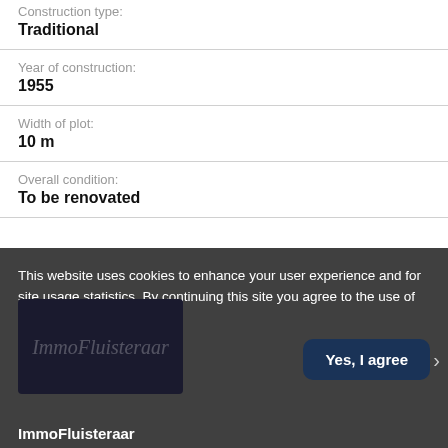Construction type:
Traditional
Year of construction:
1955
Width of plot:
10 m
Overall condition:
To be renovated
This website uses cookies to enhance your user experience and for site usage statistics. By continuing this site you agree to the use of cookies.
Yes, I agree
ImmoFluisteraar